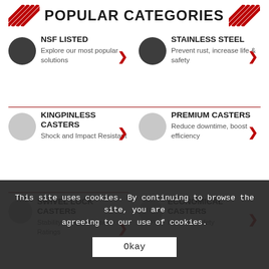POPULAR CATEGORIES
NSF LISTED — Explore our most popular solutions
STAINLESS STEEL — Prevent rust, increase life & safety
KINGPINLESS CASTERS — Shock and Impact Resistant
PREMIUM CASTERS — Reduce downtime, boost efficiency
SWIVEL LOCK CASTERS — Stability + Higher Load Ratings
ECONOMICAL CASTERS — Increase safety
EXTENDED LEA... — Protection + Noise Reduction
LOPRO CASTERS — Low profile
This site uses cookies. By continuing to browse the site, you are agreeing to our use of cookies.
Okay